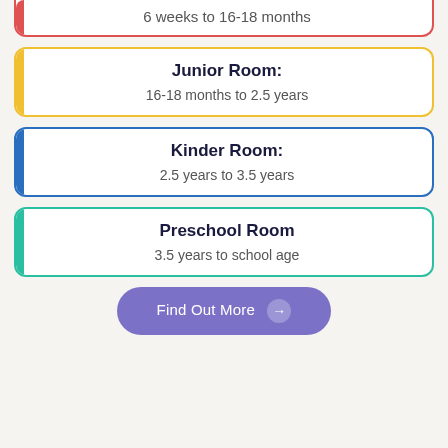6 weeks to 16-18 months
Junior Room:
16-18 months to 2.5 years
Kinder Room:
2.5 years to 3.5 years
Preschool Room
3.5 years to school age
Find Out More →